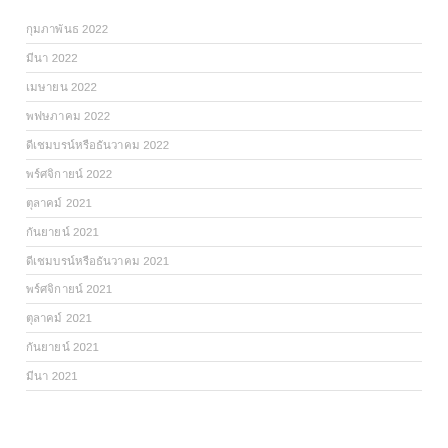​​​​​​​​ 2022
​​​ 2022
​​​​ 2022
​​​​ 2022
​​​​​​​​​​​​ 2022
​​​​​​​​​​ 2022
​​​​​​​​ 2021
​​​​​​​​​ 2021
​​​​​​​​​​​​ 2021
​​​​​​​​​​ 2021
​​​​​​​​ 2021
​​​​​​​​​ 2021
​​​​ 2021